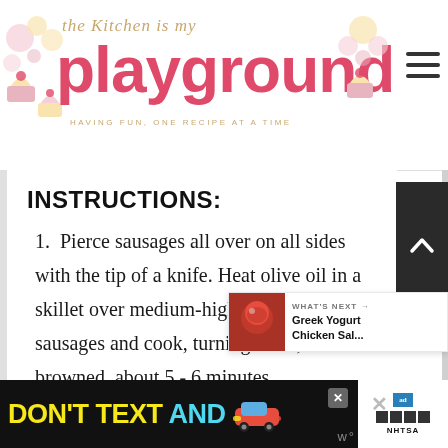the Kitchen is my playground — HAVING FUN, ONE RECIPE AT A TIME
INSTRUCTIONS:
1. Pierce sausages all over on all sides with the tip of a knife. Heat olive oil in a skillet over medium-high heat. Add sausages and cook, turning often, until browned, about 5 - 6 minutes.
[Figure (other): What's Next promo box with thumbnail image of food and text: Greek Yogurt Chicken Sal...]
[Figure (other): Ad banner: DON'T TEXT AND [car emoji] ad with NHTSA logo]